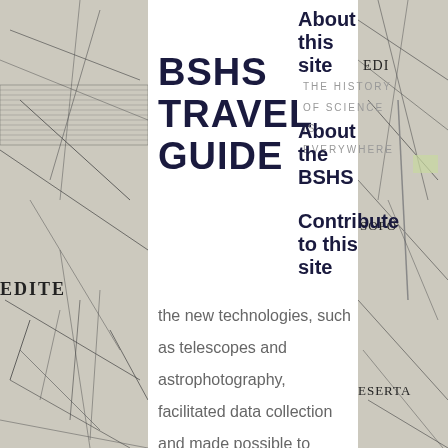[Figure (illustration): Vintage map background strip on left side of page]
[Figure (illustration): Vintage map background strip on right side of page]
BSHS TRAVEL GUIDE
THE HISTORY OF SCIENCE IS EVERYWHERE
About this site
About the BSHS
Contribute to this site
the new technologies, such as telescopes and astrophotography, facilitated data collection and made possible to photograph light patterns around stars. Moreover, he acknowledged the women's suffrage